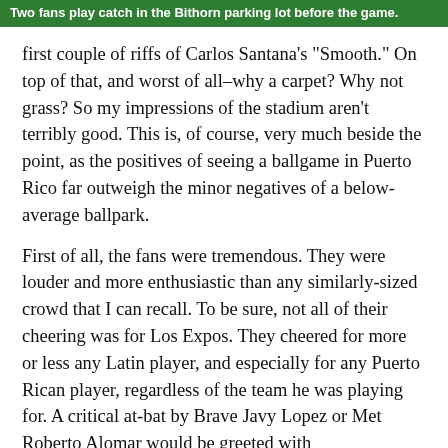Two fans play catch in the Bithorn parking lot before the game.
first couple of riffs of Carlos Santana’s “Smooth.”  On top of that, and worst of all–why a carpet?  Why not grass?  So my impressions of the stadium aren’t terribly good.  This is, of course, very much beside the point, as the positives of seeing a ballgame in Puerto Rico far outweigh the minor negatives of a below-average ballpark.
First of all, the fans were tremendous.  They were louder and more enthusiastic than any similarly-sized crowd that I can recall.  To be sure, not all of their cheering was for Los Expos.  They cheered for more or less any Latin player, and especially for any Puerto Rican player, regardless of the team he was playing for.  A critical at-bat by Brave Javy Lopez or Met Roberto Alomar would be greeted with
[Figure (photo): Outdoor sky with clouds and what appears to be a scoreboard or sign structure on poles]